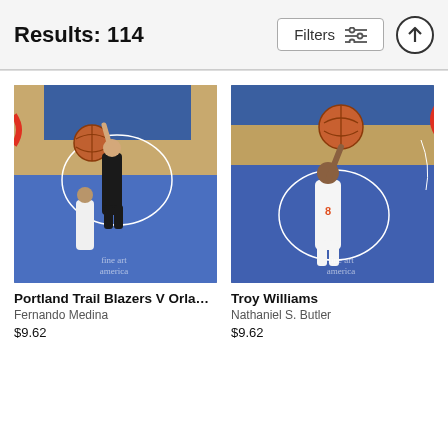Results: 114
[Figure (screenshot): Filters button with sliders icon]
[Figure (photo): NBA basketball game photo: Portland Trail Blazers player dunking over Orlando Magic defender, aerial view of court]
Portland Trail Blazers V Orland...
Fernando Medina
$9.62
[Figure (photo): NBA basketball game photo: Troy Williams New York Knicks player holding ball up near basket, aerial view]
Troy Williams
Nathaniel S. Butler
$9.62